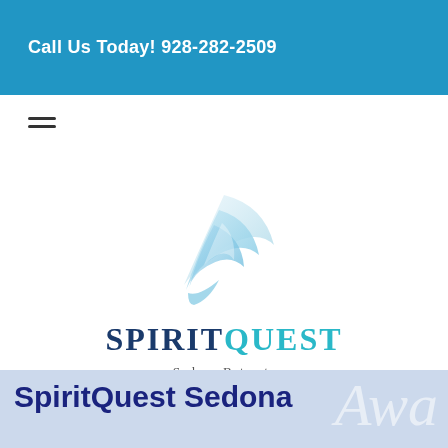Call Us Today! 928-282-2509
[Figure (logo): SpiritQuest Sedona Retreats logo with a stylized blue bird/feather above the text SPIRITQUEST in dark navy and teal, with 'Sedona Retreats' subtitle]
SpiritQuest Sedona